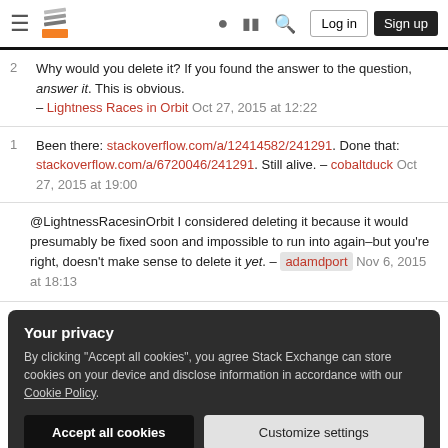Stack Overflow navigation bar with Log in and Sign up buttons
2 Why would you delete it? If you found the answer to the question, answer it. This is obvious. – Lightness Races in Orbit Oct 27, 2015 at 12:22
1 Been there: stackoverflow.com/a/12414582/241291. Done that: stackoverflow.com/a/6720046/241291. Still alive. – cobaltduck Oct 27, 2015 at 19:00
@LightnessRacesinOrbit I considered deleting it because it would presumably be fixed soon and impossible to run into again–but you're right, doesn't make sense to delete it yet. – adamdport Nov 6, 2015 at 18:13
Your privacy
By clicking "Accept all cookies", you agree Stack Exchange can store cookies on your device and disclose information in accordance with our Cookie Policy.
Accept all cookies  Customize settings
any possible workaround(if you have one).